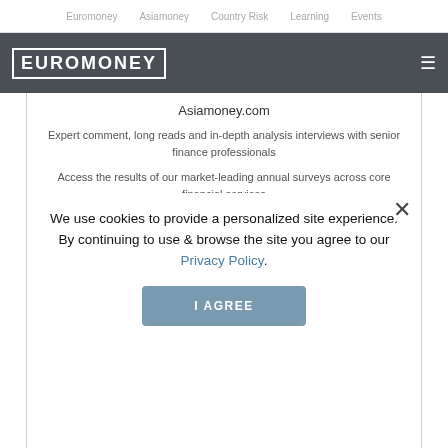Euromoney   Asiamoney   Country Risk   Learning   Events
[Figure (logo): Euromoney logo in white text on dark grey header bar with hamburger menu icon]
Asiamoney.com
Expert comment, long reads and in-depth analysis interviews with senior finance professionals
Access the results of our market-leading annual surveys across core financial services
Access the results of our annual awards including the world-renowned Awards for Excellence
Your print copy of Euromoney magazine delivered monthly
Billed Annually
We use cookies to provide a personalized site experience.
By continuing to use & browse the site you agree to our Privacy Policy.
I AGREE